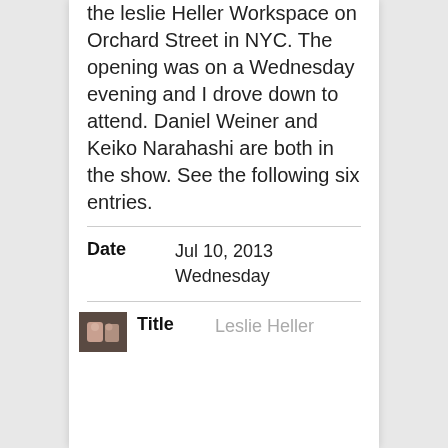the leslie Heller Workspace on Orchard Street in NYC. The opening was on a Wednesday evening and I drove down to attend. Daniel Weiner and Keiko Narahashi are both in the show. See the following six entries.
|  |  |
| --- | --- |
| Date | Jul 10, 2013
Wednesday |
|  |  |
| --- | --- |
| Title | Leslie Heller |